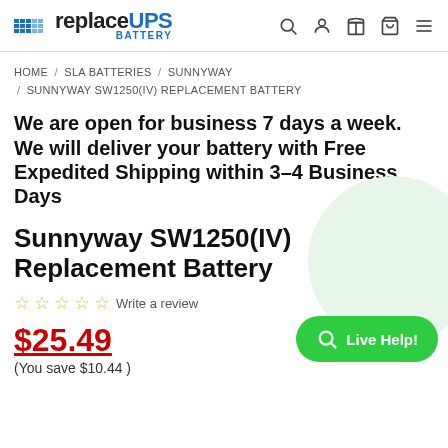replaceUPS BATTERY
HOME / SLA BATTERIES / SUNNYWAY / SUNNYWAY SW1250(IV) REPLACEMENT BATTERY
We are open for business 7 days a week. We will deliver your battery with Free Expedited Shipping within 3-4 Business Days
Sunnyway SW1250(IV) Replacement Battery
☆☆☆☆☆ Write a review
$25.49 (You save $10.44 )